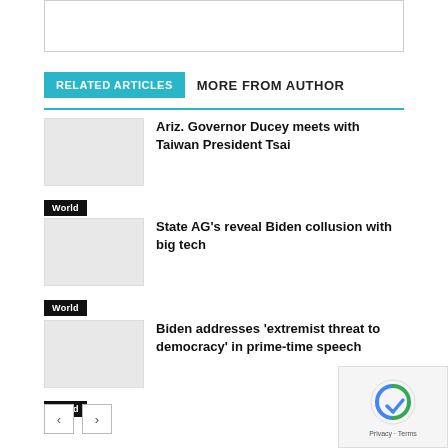[Figure (photo): Top image placeholder box]
RELATED ARTICLES  MORE FROM AUTHOR
Ariz. Governor Ducey meets with Taiwan President Tsai
World
State AG's reveal Biden collusion with big tech
World
Biden addresses ‘extremist threat to democracy’ in prime-time speech
World